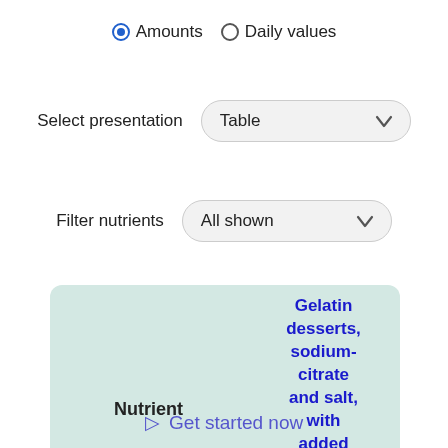Amounts  Daily values
Select presentation  Table
Filter nutrients  All shown
| Nutrient | Gelatin desserts, sodium-citrate and salt, with added ascorbic acid, dry mix |
| --- | --- |
⊳ Get started now